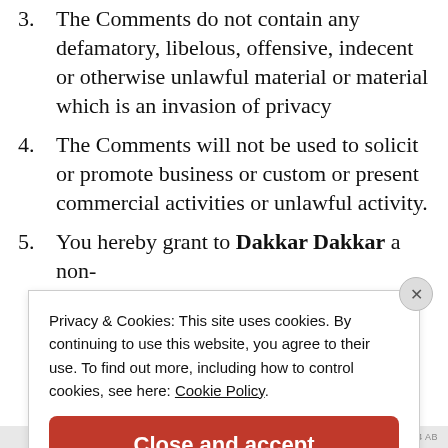3. The Comments do not contain any defamatory, libelous, offensive, indecent or otherwise unlawful material or material which is an invasion of privacy
4. The Comments will not be used to solicit or promote business or custom or present commercial activities or unlawful activity.
5. You hereby grant to Dakkar Dakkar a non-
Privacy & Cookies: This site uses cookies. By continuing to use this website, you agree to their use. To find out more, including how to control cookies, see here: Cookie Policy
Close and accept
ABCDEF 1234 AB